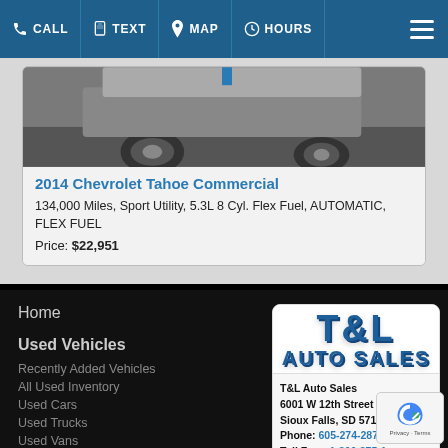CALL  TEXT  MAP  HOURS
[Figure (photo): Partial view of a vehicle (bottom/wheel area) — car listing photo for 2014 Chevrolet Tahoe Commercial]
2014 Chevrolet Tahoe Commercial
134,000 Miles, Sport Utility, 5.3L 8 Cyl. Flex Fuel, AUTOMATIC, FLEX FUEL
Price: $22,951
Home
Used Vehicles
Recently Added Vehicles
All Used Inventory
Used Cars
Used Trucks
Used Vans
[Figure (logo): T&L AUTO SALES logo — blue 3D text on white background]
T&L Auto Sales
6001 W 12th Street
Sioux Falls, SD 57106
Phone: 605-274-2878
Toll Free: 1-866-875-1...